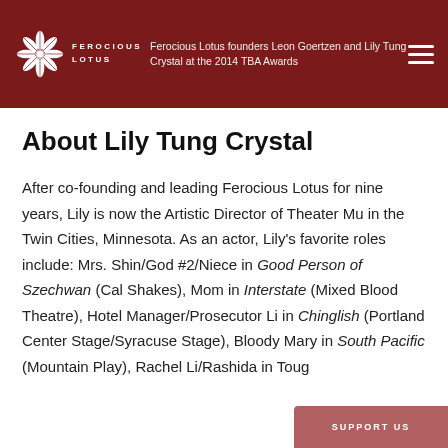Ferocious Lotus founders Leon Goertzen and Lily Tung Crystal at the 2014 TBA Awards
About Lily Tung Crystal
After co-founding and leading Ferocious Lotus for nine years, Lily is now the Artistic Director of Theater Mu in the Twin Cities, Minnesota. As an actor, Lily's favorite roles include: Mrs. Shin/God #2/Niece in Good Person of Szechwan (Cal Shakes), Mom in Interstate (Mixed Blood Theatre), Hotel Manager/Prosecutor Li in Chinglish (Portland Center Stage/Syracuse Stage), Bloody Mary in South Pacific (Mountain Play), Rachel Li/Rashida in Toug…